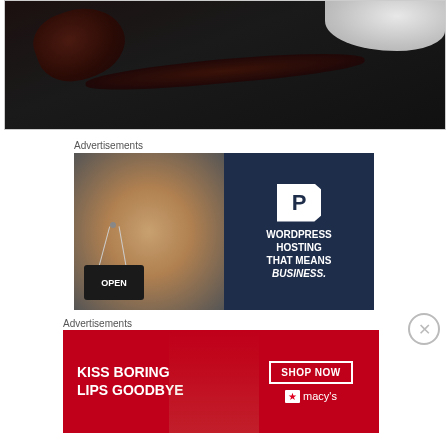[Figure (photo): Close-up dark photo of dried chili peppers on a dark surface with a white ceramic bowl visible at top right]
Advertisements
[Figure (photo): WordPress Hosting advertisement showing a woman holding an OPEN sign on the left half (dark background) and a navy blue right half with a P logo and text: WORDPRESS HOSTING THAT MEANS BUSINESS.]
Advertisements
[Figure (photo): Macy's advertisement with red background showing 'KISS BORING LIPS GOODBYE' on left side, a woman's face with red lips in center, and 'SHOP NOW' button with Macy's star logo on right]